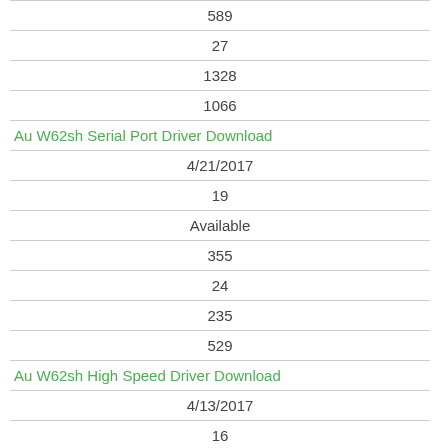| 589 |
| 27 |
| 1328 |
| 1066 |
| Au W62sh Serial Port Driver Download |
| 4/21/2017 |
| 19 |
| Available |
| 355 |
| 24 |
| 235 |
| 529 |
| Au W62sh High Speed Driver Download |
| 4/13/2017 |
| 16 |
| Available |
| 2356 |
| 68 |
| 269 |
| 2642 |
| Au W62sh Driver Download |